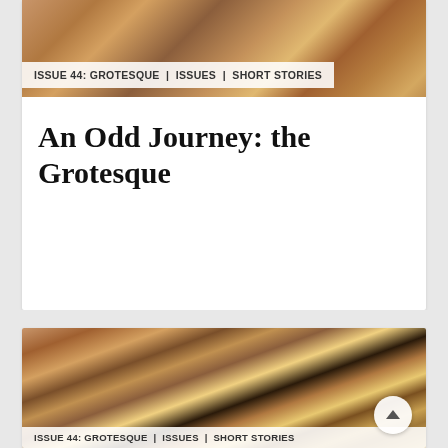[Figure (photo): Decorative ornate artwork with warm golden-brown tones at the top of the first card]
ISSUE 44: GROTESQUE | ISSUES | SHORT STORIES
An Odd Journey: the Grotesque
[Figure (photo): Large ornate golden-brown sculptural or carved artwork filling the second card]
ISSUE 44: GROTESQUE | ISSUES | SHORT STORIES